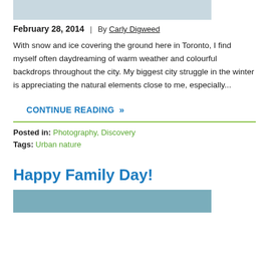[Figure (photo): Top portion of a photo, mostly sky/background, partial crop]
February 28, 2014 | By Carly Digweed
With snow and ice covering the ground here in Toronto, I find myself often daydreaming of warm weather and colourful backdrops throughout the city. My biggest city struggle in the winter is appreciating the natural elements close to me, especially...
CONTINUE READING »
Posted in: Photography, Discovery
Tags: Urban nature
Happy Family Day!
[Figure (photo): Bottom portion showing people outdoors under a blue canopy]